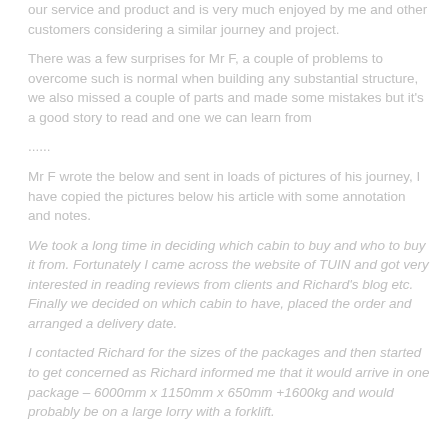our service and product and is very much enjoyed by me and other customers considering a similar journey and project.
There was a few surprises for Mr F, a couple of problems to overcome such is normal when building any substantial structure, we also missed a couple of parts and made some mistakes but it’s a good story to read and one we can learn from ......
Mr F wrote the below and sent in loads of pictures of his journey, I have copied the pictures below his article with some annotation and notes.
We took a long time in deciding which cabin to buy and who to buy it from. Fortunately I came across the website of TUIN and got very interested in reading reviews from clients and Richard’s blog etc. Finally we decided on which cabin to have, placed the order and arranged a delivery date.
I contacted Richard for the sizes of the packages and then started to get concerned as Richard informed me that it would arrive in one package – 6000mm x 1150mm x 650mm +1600kg and would probably be on a large lorry with a forklift.